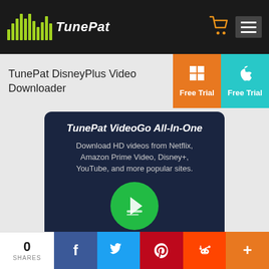[Figure (logo): TunePat logo with green bar chart icon and white italic text on dark background, with shopping cart and hamburger menu icons]
TunePat DisneyPlus Video Downloader
[Figure (other): Two Free Trial buttons: orange with Windows logo and teal with Apple logo]
[Figure (advertisement): TunePat VideoGo All-In-One ad banner on dark blue background with green circular logo. Text: Download HD videos from Netflix, Amazon Prime Video, Disney+, YouTube, and more popular sites. Learn More button.]
0
SHARES
[Figure (infographic): Social share bar with Facebook, Twitter, Pinterest, Reddit, and More buttons]